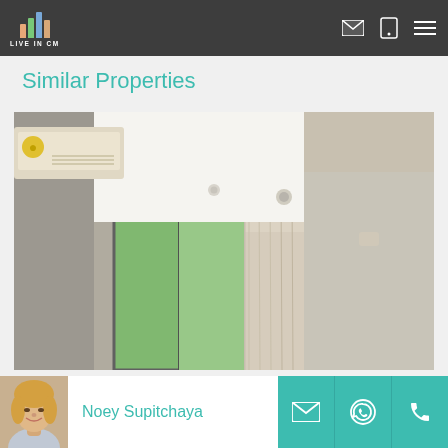LIVE IN CM
Similar Properties
[Figure (photo): Interior room photo showing ceiling-mounted air conditioning unit, large sliding glass door/window with sheer curtains, beige walls, and wooden headboard of a bed. Bright daylight with trees visible through window.]
Noey Supitchaya